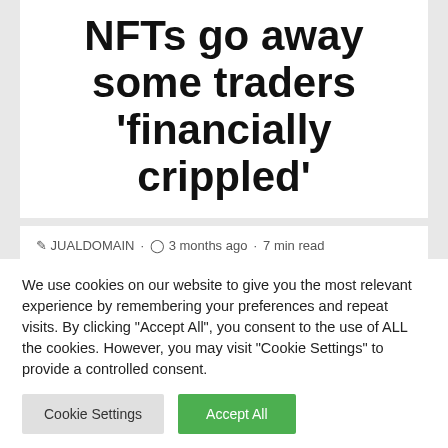NFTs go away some traders ‘financially crippled’
✏ JUALDOMAIN · ⧖ 3 months ago · 7 min read
[Figure (photo): Illustration of a crowd of people viewed from behind, heads closely packed together, muted earthy and brown tones.]
We use cookies on our website to give you the most relevant experience by remembering your preferences and repeat visits. By clicking “Accept All”, you consent to the use of ALL the cookies. However, you may visit "Cookie Settings" to provide a controlled consent.
Cookie Settings
Accept All